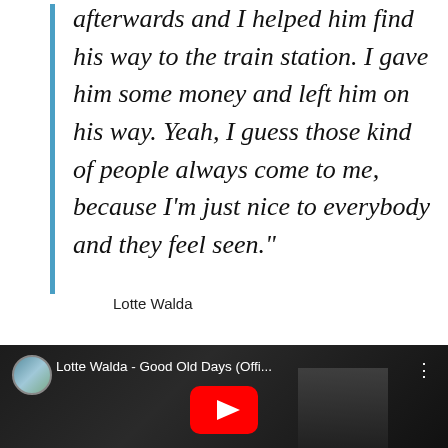afterwards and I helped him find his way to the train station. I gave him some money and left him on his way. Yeah, I guess those kind of people always come to me, because I'm just nice to everybody and they feel seen.”
Lotte Walda
[Figure (screenshot): YouTube video thumbnail showing 'Lotte Walda - Good Old Days (Offi...' with a channel icon (circular photo of a woman), video title text, three-dot menu, and a red YouTube play button overlay on a dark scene with a woman's silhouette.]